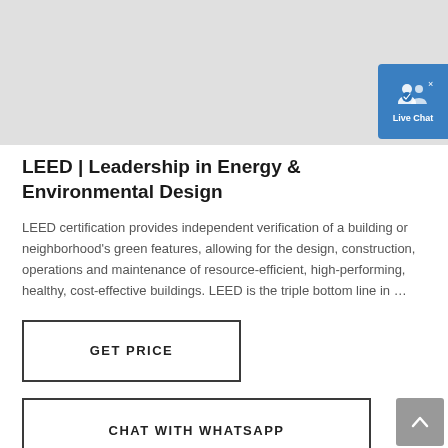[Figure (screenshot): Grey map area placeholder at the top of the page with a Live Chat button overlay in the top-right corner]
LEED | Leadership in Energy & Environmental Design
LEED certification provides independent verification of a building or neighborhood's green features, allowing for the design, construction, operations and maintenance of resource-efficient, high-performing, healthy, cost-effective buildings. LEED is the triple bottom line in …